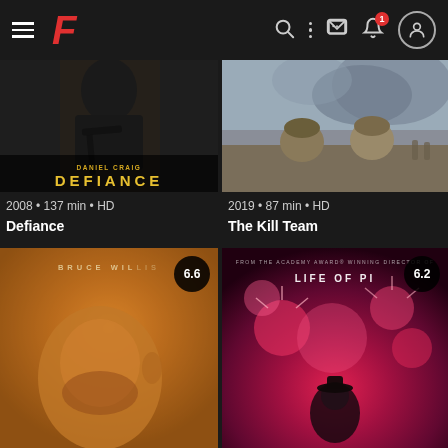[Figure (screenshot): App header bar with hamburger menu, red F logo, search icon, vertical dots menu, message icon, notification bell with badge '1', and circular profile icon]
[Figure (photo): Movie poster for Defiance (2008) featuring Daniel Craig holding a rifle, dark moody tones with golden title text]
2008 • 137 min • HD
Defiance
[Figure (photo): Movie poster for The Kill Team (2019) showing two soldiers in helmets facing each other with smoke in the background]
2019 • 87 min • HD
The Kill Team
[Figure (photo): Movie poster for a Bruce Willis film showing his face in orange/golden tones with rating badge 6.6]
[Figure (photo): Movie poster for Life of Pi showing fireworks in red tones with rating badge 6.2]